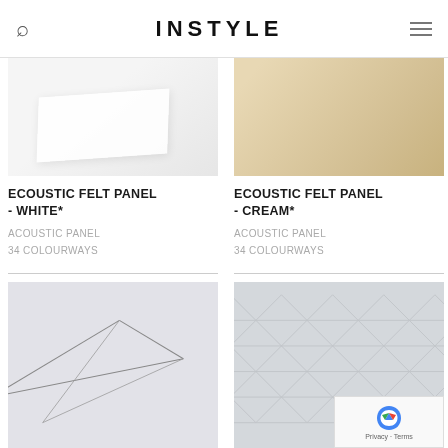INSTYLE
[Figure (photo): White acoustic felt panel product photo on light background]
ECOUSTIC FELT PANEL - WHITE*
ACOUSTIC PANEL
34 COLOURWAYS
[Figure (photo): Cream acoustic felt panel product photo on light background]
ECOUSTIC FELT PANEL - CREAM*
ACOUSTIC PANEL
34 COLOURWAYS
[Figure (photo): Geometric line pattern acoustic panel product photo]
[Figure (photo): Triangular pattern acoustic panel product photo]